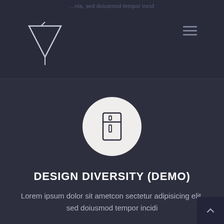...nia, sed doiusmod tempor incid
[Figure (logo): Downward-pointing triangle logo outline in light color]
[Figure (illustration): Hamburger menu icon (three horizontal lines)]
[Figure (illustration): Refrigerator icon inside a light circular background]
DESIGN DIVERSITY (DEMO)
Lorem ipsum dolor sit ametcon sectetur adipisicing elit, sed doiusmod tempor incidi